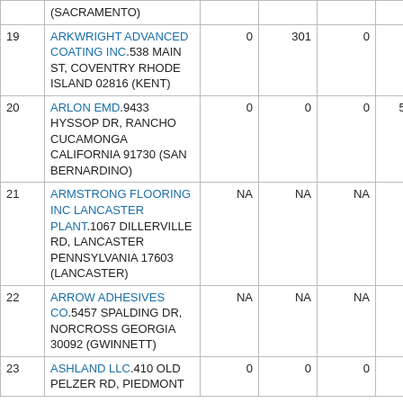| # | Facility Name & Address | Col1 | Col2 | Col3 | Col4 | Col5 |
| --- | --- | --- | --- | --- | --- | --- |
|  | (SACRAMENTO) |  |  |  |  |  |
| 19 | ARKWRIGHT ADVANCED COATING INC.538 MAIN ST, COVENTRY RHODE ISLAND 02816 (KENT) | 0 | 301 | 0 | 0 |  |
| 20 | ARLON EMD.9433 HYSSOP DR, RANCHO CUCAMONGA CALIFORNIA 91730 (SAN BERNARDINO) | 0 | 0 | 0 | 5,795 | 19, |
| 21 | ARMSTRONG FLOORING INC LANCASTER PLANT.1067 DILLERVILLE RD, LANCASTER PENNSYLVANIA 17603 (LANCASTER) | NA | NA | NA | NA |  |
| 22 | ARROW ADHESIVES CO.5457 SPALDING DR, NORCROSS GEORGIA 30092 (GWINNETT) | NA | NA | NA | NA |  |
| 23 | ASHLAND LLC.410 OLD PELZER RD, PIEDMONT | 0 | 0 | 0 | 9 |  |